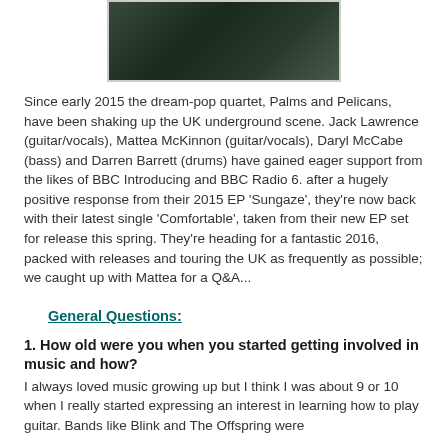[Figure (photo): Band photo of Palms and Pelicans, four people posing together against a dark background]
Since early 2015 the dream-pop quartet, Palms and Pelicans, have been shaking up the UK underground scene. Jack Lawrence (guitar/vocals), Mattea McKinnon (guitar/vocals), Daryl McCabe (bass) and Darren Barrett (drums) have gained eager support from the likes of BBC Introducing and BBC Radio 6. after a hugely positive response from their 2015 EP 'Sungaze', they're now back with their latest single 'Comfortable', taken from their new EP set for release this spring. They're heading for a fantastic 2016, packed with releases and touring the UK as frequently as possible; we caught up with Mattea for a Q&A...
General Questions:
1. How old were you when you started getting involved in music and how?
I always loved music growing up but I think I was about 9 or 10 when I really started expressing an interest in learning how to play guitar. Bands like Blink and The Offspring were